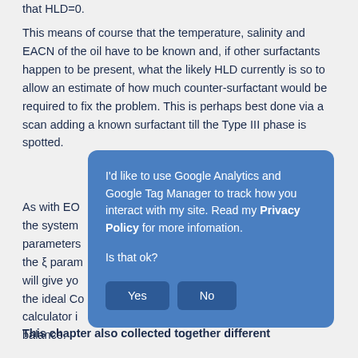that HLD=0.
This means of course that the temperature, salinity and EACN of the oil have to be known and, if other surfactants happen to be present, what the likely HLD currently is so to allow an estimate of how much counter-surfactant would be required to fix the problem. This is perhaps best done via a scan adding a known surfactant till the Type III phase is spotted.
As with EO the system parameters d the ξ param will give yo the ideal Co calculator i balance.
[Figure (screenshot): Cookie/privacy consent modal dialog with blue background. Text reads: I'd like to use Google Analytics and Google Tag Manager to track how you interact with my site. Read my Privacy Policy for more infomation. Is that ok? Two buttons: Yes and No.]
This chapter also collected together different